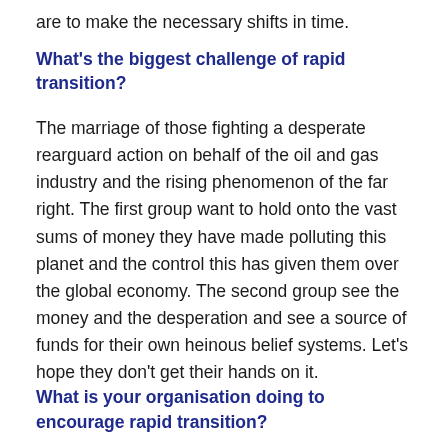are to make the necessary shifts in time.
What's the biggest challenge of rapid transition?
The marriage of those fighting a desperate rearguard action on behalf of the oil and gas industry and the rising phenomenon of the far right. The first group want to hold onto the vast sums of money they have made polluting this planet and the control this has given them over the global economy. The second group see the money and the desperation and see a source of funds for their own heinous belief systems. Let's hope they don't get their hands on it.
What is your organisation doing to encourage rapid transition?